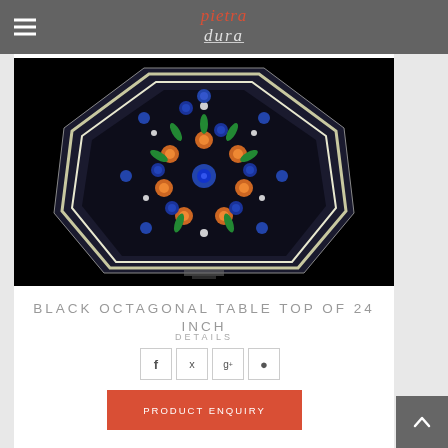pietra dura
[Figure (photo): Ornate black octagonal marble table top with intricate pietra dura inlay work featuring colorful floral patterns in blue, green, orange, and white stones on a black marble background, photographed against a black background.]
BLACK OCTAGONAL TABLE TOP OF 24 INCH
DETAILS
Social share buttons: Facebook, Twitter, Google+, Pinterest
PRODUCT ENQUIRY